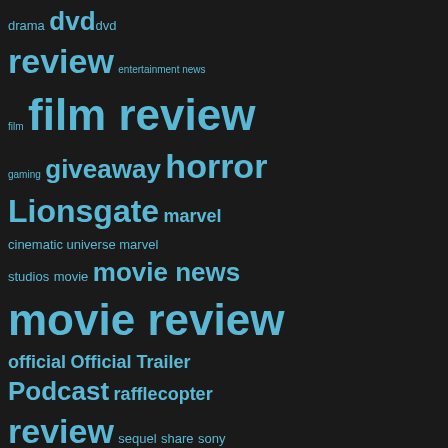[Figure (infographic): Tag cloud on dark background featuring entertainment and media related tags in varying sizes. Tags include: drama, dvd, dvd review, entertainment news, film, film review, gaming, giveaway, horror, Lionsgate, marvel, cinematic universe, marvel studios, movie, movie news, movie review, official, Official Trailer, Podcast, rafflecopter, review, sequel, share, sony pictures home entertainment, subscribe, suspense, thriller, trailer, TV Review, TV Series, tv show, undead, universal studios home entertainment, Walt Disney Studios Home Entertainment, youtube, Youtuber, Youtubers, zombies]